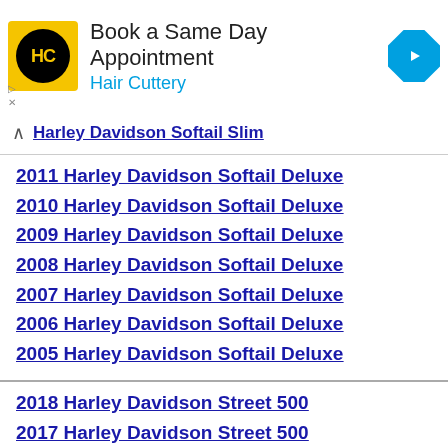[Figure (other): Hair Cuttery advertisement banner with logo, 'Book a Same Day Appointment' headline, and navigation icon]
Harley Davidson Softail Slim
2011 Harley Davidson Softail Deluxe
2010 Harley Davidson Softail Deluxe
2009 Harley Davidson Softail Deluxe
2008 Harley Davidson Softail Deluxe
2007 Harley Davidson Softail Deluxe
2006 Harley Davidson Softail Deluxe
2005 Harley Davidson Softail Deluxe
2018 Harley Davidson Street 500
2017 Harley Davidson Street 500
2016 Harley Davidson Street 500
2015 Harley Davidson Street 500
2018 Harley Davidson Street 750